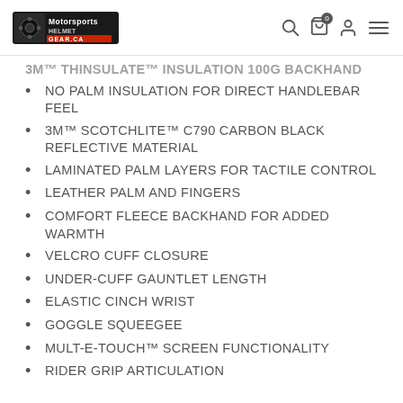Motorsports Gear CA — navigation header with logo, search, cart, account, and menu icons
3M™ THINSULATE™ INSULATION 100G BACKHAND
NO PALM INSULATION FOR DIRECT HANDLEBAR FEEL
3M™ SCOTCHLITE™ C790 CARBON BLACK REFLECTIVE MATERIAL
LAMINATED PALM LAYERS FOR TACTILE CONTROL
LEATHER PALM AND FINGERS
COMFORT FLEECE BACKHAND FOR ADDED WARMTH
VELCRO CUFF CLOSURE
UNDER-CUFF GAUNTLET LENGTH
ELASTIC CINCH WRIST
GOGGLE SQUEEGEE
MULT-E-TOUCH™ SCREEN FUNCTIONALITY
RIDER GRIP ARTICULATION